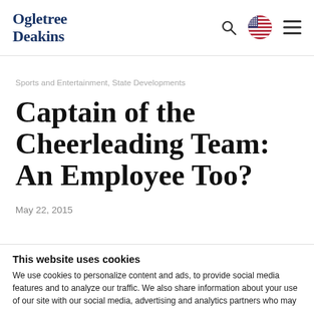Ogletree Deakins
Sports and Entertainment, State Developments
Captain of the Cheerleading Team: An Employee Too?
May 22, 2015
This website uses cookies
We use cookies to personalize content and ads, to provide social media features and to analyze our traffic. We also share information about your use of our site with our social media, advertising and analytics partners who may